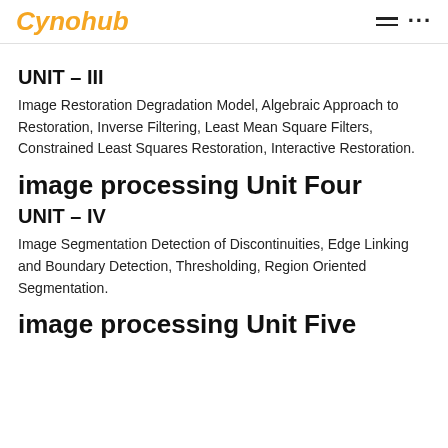Cynohub
UNIT – III
Image Restoration Degradation Model, Algebraic Approach to Restoration, Inverse Filtering, Least Mean Square Filters, Constrained Least Squares Restoration, Interactive Restoration.
image processing Unit Four
UNIT – IV
Image Segmentation Detection of Discontinuities, Edge Linking and Boundary Detection, Thresholding, Region Oriented Segmentation.
image processing Unit Five